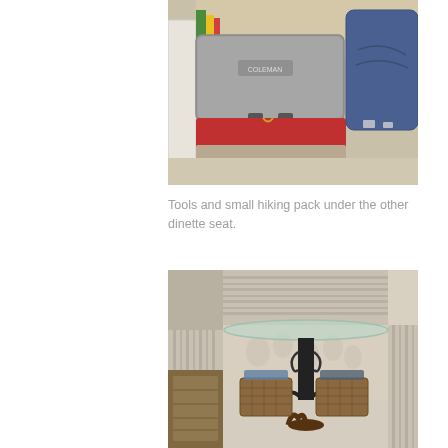[Figure (photo): Gray hard-shell tool case (possibly Coleman brand) stacked on red and clear plastic containers, with a blue denim hiking bag visible on the right side. Items are stored in a tight space, likely under a seat.]
Tools and small hiking pack under the other dinette seat.
[Figure (photo): RV dinette booth with striped cushioned benches meeting at a corner, a round glass-topped ornate black metal pedestal table in the center, and two wicker/rattan storage baskets underneath the table. The seat cushions have a floral/damask pattern on the front face.]